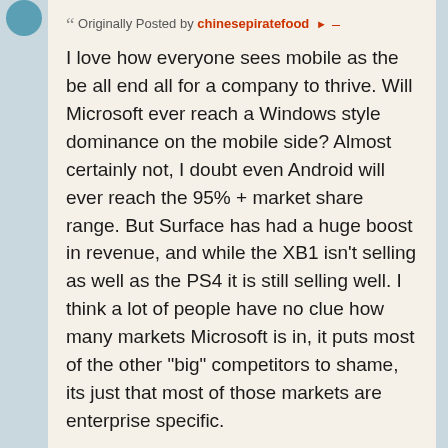Originally Posted by chinesepiratefood
I love how everyone sees mobile as the be all end all for a company to thrive. Will Microsoft ever reach a Windows style dominance on the mobile side? Almost certainly not, I doubt even Android will ever reach the 95% + market share range. But Surface has had a huge boost in revenue, and while the XB1 isn't selling as well as the PS4 it is still selling well. I think a lot of people have no clue how many markets Microsoft is in, it puts most of the other "big" competitors to shame, its just that most of those markets are enterprise specific.
Because Microsoft is so diversified they can of course thrive without mobile. But there is no denying the fact mobile is the future. Why do you think various companies and services put